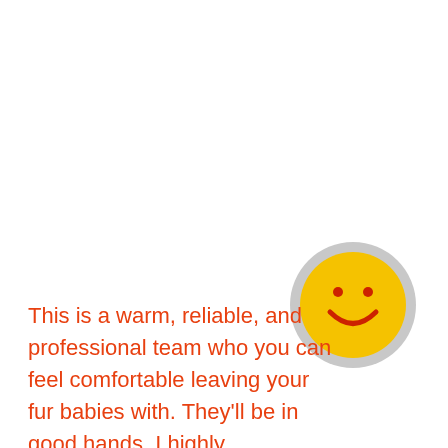[Figure (illustration): A smiley face emoji — yellow circle with red dot eyes and a red curved smile, set inside a light grey circular border — positioned in the upper-right area of the page.]
This is a warm, reliable, and professional team who you can feel comfortable leaving your fur babies with. They'll be in good hands. I highly recommend this service.